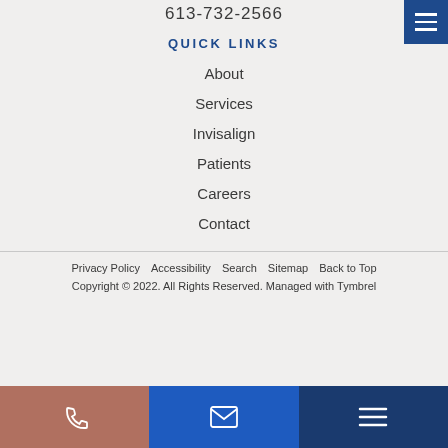613-732-2566
QUICK LINKS
About
Services
Invisalign
Patients
Careers
Contact
Privacy Policy   Accessibility   Search   Sitemap   Back to Top
Copyright © 2022. All Rights Reserved. Managed with Tymbrel